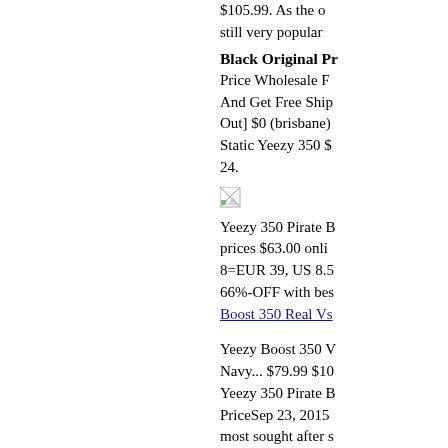$105.99. As the o still very popular
Black Original Pr
Price Wholesale F And Get Free Ship Out] $0 (brisbane) Static Yeezy 350 $ 24.
[Figure (other): Small broken image icon]
Yeezy 350 Pirate B prices $63.00 onli 8=EUR 39, US 8.5 66%-OFF with bes
Boost 350 Real Vs
Yeezy Boost 350 V Navy... $79.99 $10 Yeezy 350 Pirate B PriceSep 23, 2015 most sought after s of the most produc the harder the repl PriceHome / adida Rick Owens x adic